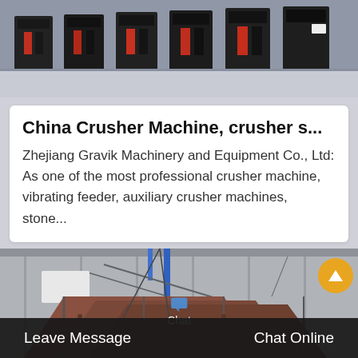[Figure (photo): Row of black crusher machines photographed from the side in a manufacturing or trade show setting]
China Crusher Machine, crusher s...
Zhejiang Gravik Machinery and Equipment Co., Ltd: As one of the most professional crusher machine, vibrating feeder, auxiliary crusher machines, stone...
[Figure (photo): Industrial facility exterior showing large metal vibrating feeder or conveyor equipment with steel frame structure, warehouse building in background]
Leave Message    Chat Online